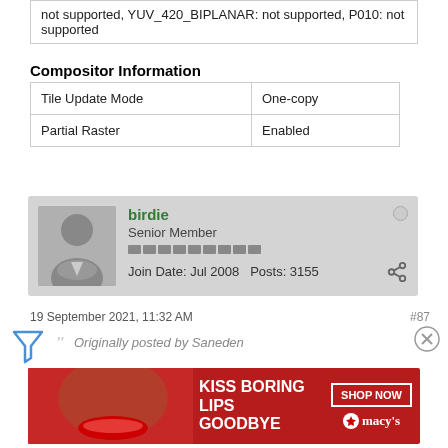| not supported, YUV_420_BIPLANAR: not supported, P010: not supported |
Compositor Information
| Tile Update Mode | One-copy |
| Partial Raster | Enabled |
[Figure (other): Forum user card for 'birdie', Senior Member, Join Date: Jul 2008, Posts: 3155, with avatar placeholder and online/share icons]
19 September 2021, 11:32 AM
#87
[Figure (other): Filter icon (funnel/triangle shape)]
Originally posted by Saneden
[Figure (other): Advertisement banner: KISS BORING LIPS GOODBYE - SHOP NOW - macy's with red lipstick photo]